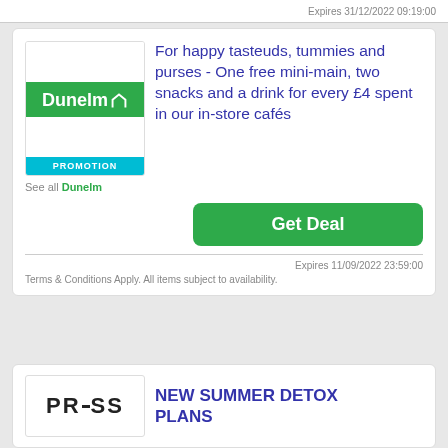Expires 31/12/2022 09:19:00
[Figure (logo): Dunelm logo with green background and PROMOTION bar]
See all Dunelm
For happy tasteuds, tummies and purses - One free mini-main, two snacks and a drink for every £4 spent in our in-store cafés
Get Deal
Expires 11/09/2022 23:59:00
Terms & Conditions Apply. All items subject to availability.
[Figure (logo): PRESS logo with horizontal dash replacing E]
NEW SUMMER DETOX PLANS